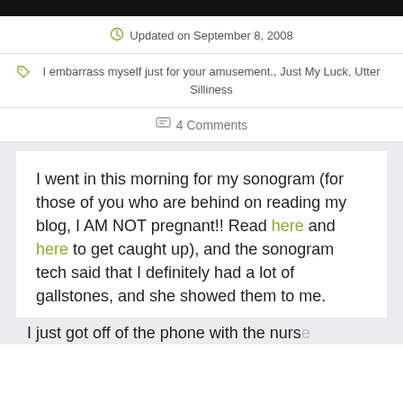Updated on September 8, 2008
I embarrass myself just for your amusement., Just My Luck, Utter Silliness
4 Comments
I went in this morning for my sonogram (for those of you who are behind on reading my blog, I AM NOT pregnant!! Read here and here to get caught up), and the sonogram tech said that I definitely had a lot of gallstones, and she showed them to me.
I just got off of the phone with the nurs...